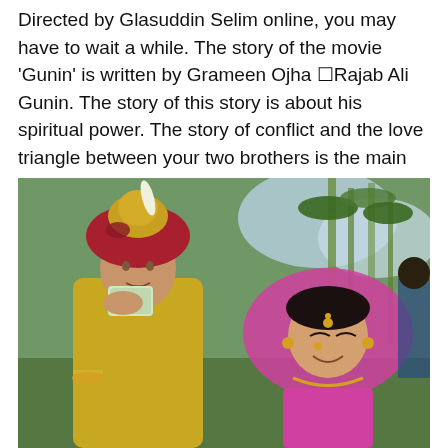Directed by Glasuddin Selim online, you may have to wait a while. The story of the movie 'Gunin' is written by Grameen Ojha ☐Rajab Ali Gunin. The story of this story is about his spiritual power. The story of conflict and the love triangle between your two brothers is the main theme of this film.
[Figure (photo): A man dressed in traditional South Asian groom attire (gold sherwani, red and gold turban) holding a phone to his mouth, standing next to a woman in bridal dress (pink dupatta, gold jewelry) with trees in the background.]